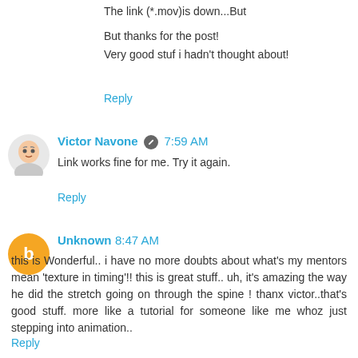The link (*.mov)is down...But

But thanks for the post!
Very good stuf i hadn't thought about!
Reply
Victor Navone 7:59 AM
Link works fine for me. Try it again.
Reply
Unknown 8:47 AM
this is Wonderful.. i have no more doubts about what's my mentors mean 'texture in timing'!! this is great stuff.. uh, it's amazing the way he did the stretch going on through the spine ! thanx victor..that's good stuff. more like a tutorial for someone like me whoz just stepping into animation..
Reply